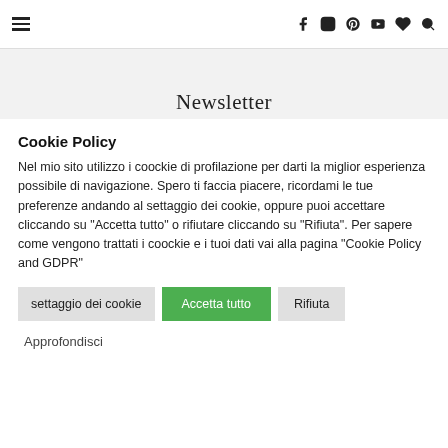[hamburger menu] [f] [instagram] [pinterest] [youtube] [heart] [search]
Newsletter
Cookie Policy
Nel mio sito utilizzo i coockie di profilazione per darti la miglior esperienza possibile di navigazione. Spero ti faccia piacere, ricordami le tue preferenze andando al settaggio dei cookie, oppure puoi accettare cliccando su "Accetta tutto" o rifiutare cliccando su "Rifiuta". Per sapere come vengono trattati i coockie e i tuoi dati vai alla pagina "Cookie Policy and GDPR"
settaggio dei cookie | Accetta tutto | Rifiuta
Approfondisci